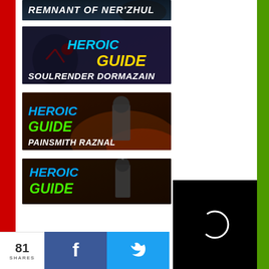[Figure (screenshot): Remnant of Ner'zhul heroic guide thumbnail (partial, top-cropped)]
[Figure (screenshot): Heroic Guide: Soulrender Dormazain thumbnail with blue HEROIC and yellow GUIDE text on dark fantasy background]
[Figure (screenshot): Heroic Guide: Painsmith Raznal thumbnail with blue HEROIC and green GUIDE text on fiery dungeon background]
[Figure (screenshot): Heroic Guide: (third boss) thumbnail with blue HEROIC and green GUIDE text, partially visible]
81 SHARES
[Figure (other): Facebook share button (blue background with white F icon)]
[Figure (other): Twitter share button (light blue background with white bird icon)]
[Figure (other): Black panel with circular loading spinner (right side)]